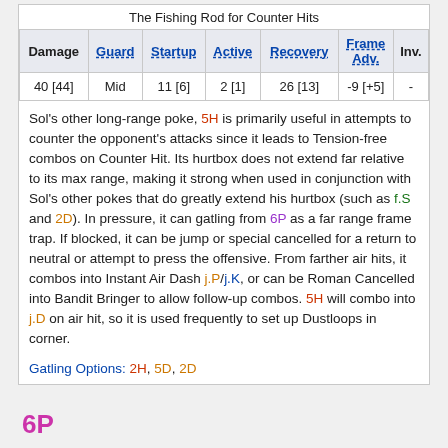The Fishing Rod for Counter Hits
| Damage | Guard | Startup | Active | Recovery | Frame Adv. | Inv. |
| --- | --- | --- | --- | --- | --- | --- |
| 40 [44] | Mid | 11 [6] | 2 [1] | 26 [13] | -9 [+5] | - |
Sol's other long-range poke, 5H is primarily useful in attempts to counter the opponent's attacks since it leads to Tension-free combos on Counter Hit. Its hurtbox does not extend far relative to its max range, making it strong when used in conjunction with Sol's other pokes that do greatly extend his hurtbox (such as f.S and 2D). In pressure, it can gatling from 6P as a far range frame trap. If blocked, it can be jump or special cancelled for a return to neutral or attempt to press the offensive. From farther air hits, it combos into Instant Air Dash j.P/j.K, or can be Roman Cancelled into Bandit Bringer to allow follow-up combos. 5H will combo into j.D on air hit, so it is used frequently to set up Dustloops in corner.
Gatling Options: 2H, 5D, 2D
6P